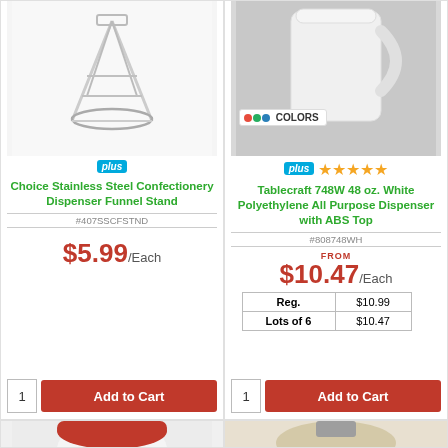[Figure (photo): Choice Stainless Steel Confectionery Dispenser Funnel Stand product photo on white background]
plus
Choice Stainless Steel Confectionery Dispenser Funnel Stand
#407SSCFSTND
$5.99/Each
1
Add to Cart
[Figure (photo): Tablecraft 748W 48 oz. White Polyethylene All Purpose Dispenser with ABS Top product photo on gray background]
COLORS
plus
★★★★★
Tablecraft 748W 48 oz. White Polyethylene All Purpose Dispenser with ABS Top
#808748WH
FROM
$10.47/Each
|  |  |
| --- | --- |
| Reg. | $10.99 |
| Lots of 6 | $10.47 |
1
Add to Cart
[Figure (photo): White dispenser with red lid and red handle product photo]
[Figure (photo): Cream/beige colored dispenser top with gray flip mechanism product photo]